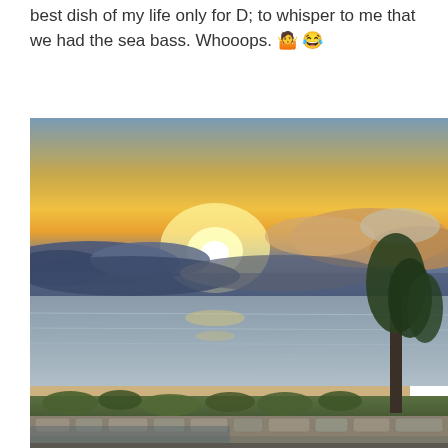best dish of my life only for D; to whisper to me that we had the sea bass. Whooops. 🤷😂
[Figure (photo): Sunset over a large lake or sea. The sky shows a bright golden-yellow sun low on the horizon with orange and blue cloud layers. The water is calm and reflective. In the foreground there is a stone-edged infinity pool or terrace, with shrubs and vegetation along the shoreline. Trees are visible on the right side.]